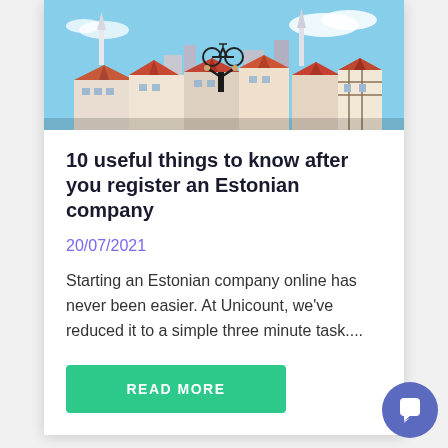[Figure (photo): Person holding a bicycle above their head against a skyline of Tallinn old town with church spires and orange-red rooftops under a blue sky.]
10 useful things to know after you register an Estonian company
20/07/2021
Starting an Estonian company online has never been easier. At Unicount, we've reduced it to a simple three minute task....
READ MORE